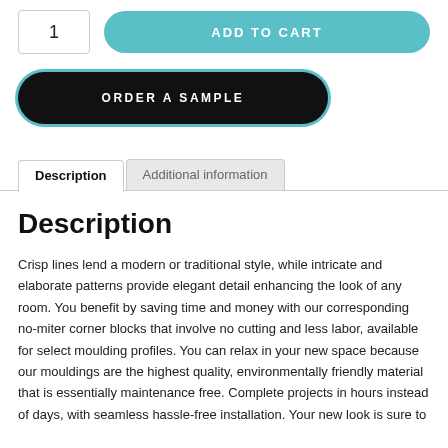1
ADD TO CART
ORDER A SAMPLE
Description
Additional information
Description
Crisp lines lend a modern or traditional style, while intricate and elaborate patterns provide elegant detail enhancing the look of any room. You benefit by saving time and money with our corresponding no-miter corner blocks that involve no cutting and less labor, available for select moulding profiles. You can relax in your new space because our mouldings are the highest quality, environmentally friendly material that is essentially maintenance free. Complete projects in hours instead of days, with seamless hassle-free installation. Your new look is sure to